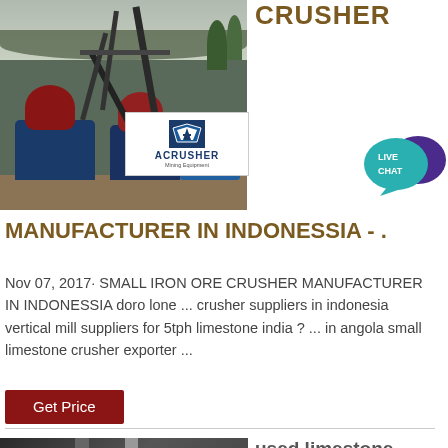[Figure (photo): Mining equipment / crusher machinery at an industrial site outdoors, with an ACRUSHER Mining Equipment logo overlay]
[Figure (logo): ACRUSHER Mining Equipment logo with blue shield icon]
CRUSHER
[Figure (infographic): LIVE CHAT speech bubble icon in teal and purple]
MANUFACTURER IN INDONESSIA - .
Nov 07, 2017· SMALL IRON ORE CRUSHER MANUFACTURER IN INDONESSIA doro lone ... crusher suppliers in indonesia vertical mill suppliers for 5tph limestone india ? ... in angola small limestone crusher exporter ...
[Figure (photo): Industrial machinery with pipes and ductwork, grayscale]
used limestone impact crusher